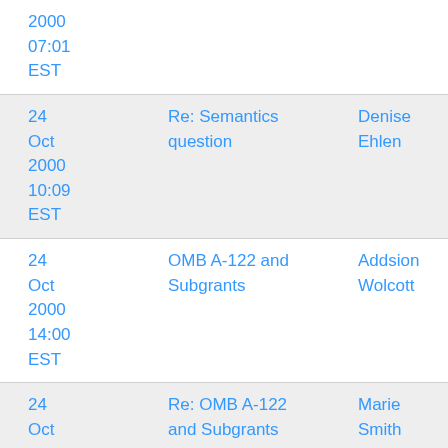| Date | Subject | Sender |
| --- | --- | --- |
| 2000
07:01
EST |  |  |
| 24 Oct 2000
10:09
EST | Re: Semantics question | Denise Ehlen |
| 24 Oct 2000
14:00
EST | OMB A-122 and Subgrants | Addsion Wolcott |
| 24 Oct 2000 | Re: OMB A-122 and Subgrants | Marie Smith |